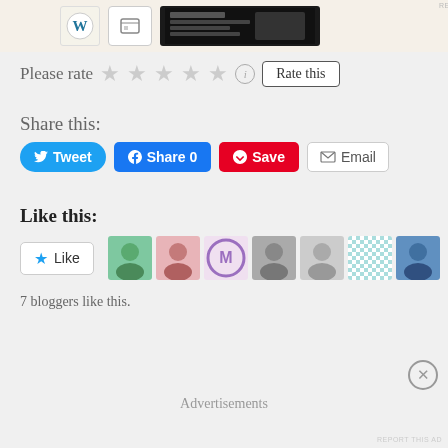[Figure (screenshot): Ad banner at top with WordPress logo and document images]
REPORT THIS AD
Please rate
[Figure (other): Five empty star rating icons and info circle]
Rate this
Share this:
Tweet
Share 0
Save
Email
Like this:
[Figure (other): Like button with star icon and 7 blogger avatar thumbnails]
7 bloggers like this.
Advertisements
REPORT THIS AD